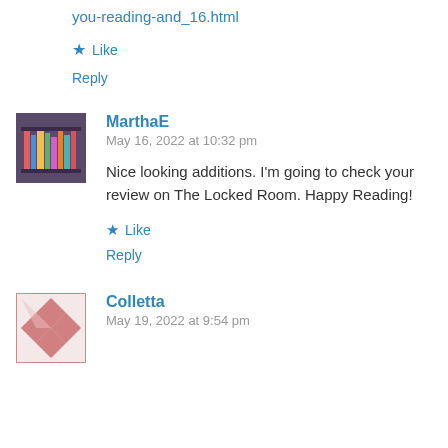you-reading-and_16.html
★ Like
Reply
[Figure (photo): Avatar image of MarthaE showing a bookshelf with colorful books]
MarthaE
May 16, 2022 at 10:32 pm
Nice looking additions. I'm going to check your review on The Locked Room. Happy Reading!
★ Like
Reply
[Figure (photo): Avatar image of Colletta showing a pink and white quilt pattern]
Colletta
May 19, 2022 at 9:54 pm